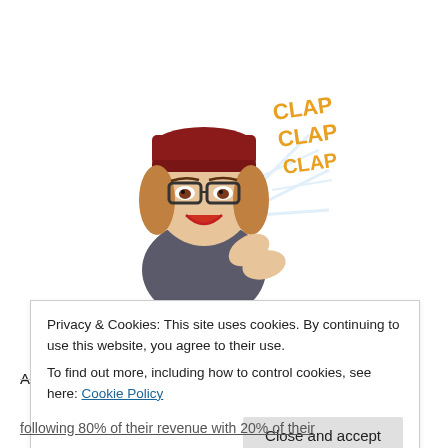[Figure (illustration): Bitmoji cartoon character of a woman with red beanie hat, glasses, shoulder-length brown hair, wearing a grey top, clapping hands. Orange text reads 'CLAP CLAP CLAP' with light rays in background.]
What is a Pareto chart, though?
A Pareto chart is simply an illustration of the well-known
Privacy & Cookies: This site uses cookies. By continuing to use this website, you agree to their use.
To find out more, including how to control cookies, see here: Cookie Policy
Close and accept
following 80% of their revenue with 20% of their